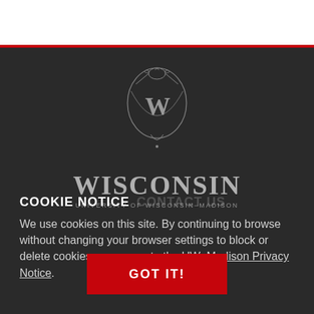[Figure (logo): University of Wisconsin-Madison crest logo with W emblem and text WISCONSIN / UNIVERSITY OF WISCONSIN-MADISON]
COOKIE NOTICE
We use cookies on this site. By continuing to browse without changing your browser settings to block or delete cookies, you agree to the UW–Madison Privacy Notice.
GOT IT!